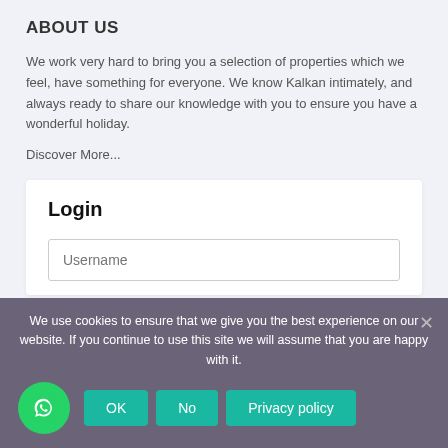ABOUT US
We work very hard to bring you a selection of properties which we feel, have something for everyone. We know Kalkan intimately, and always ready to share our knowledge with you to ensure you have a wonderful holiday.
Discover More...
Login
Username
We use cookies to ensure that we give you the best experience on our website. If you continue to use this site we will assume that you are happy with it.
OK
No
Privacy policy